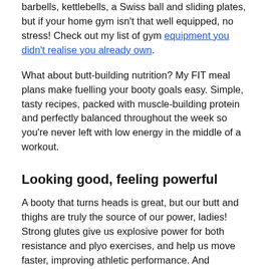barbells, kettlebells, a Swiss ball and sliding plates, but if your home gym isn't that well equipped, no stress! Check out my list of gym equipment you didn't realise you already own.
What about butt-building nutrition? My FIT meal plans make fuelling your booty goals easy. Simple, tasty recipes, packed with muscle-building protein and perfectly balanced throughout the week so you're never left with low energy in the middle of a workout.
Looking good, feeling powerful
A booty that turns heads is great, but our butt and thighs are truly the source of our power, ladies! Strong glutes give us explosive power for both resistance and plyo exercises, and help us move faster, improving athletic performance. And because the glutes are such a big muscle group, getting them strong won't just drive our workouts, it will keep our bodies burning calories long after we've finished.